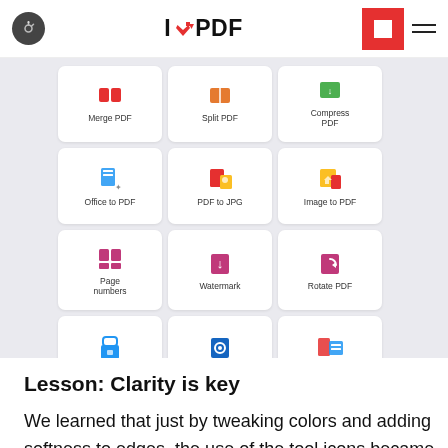ilovepdf.com header with wrench icon, logo, red box, and hamburger menu
[Figure (screenshot): Screenshot of iLovePDF web application showing a grid of PDF tool icons: Merge PDF, Split PDF, Compress PDF, Office to PDF, PDF to JPG, Image to PDF, Page numbers, Watermark, Rotate PDF, Unlock, Protect PDF, PDF to Office]
Lesson: Clarity is key
We learned that just by tweaking colors and adding softness to edges, the use of the tool icons became much clearer to the user. In this